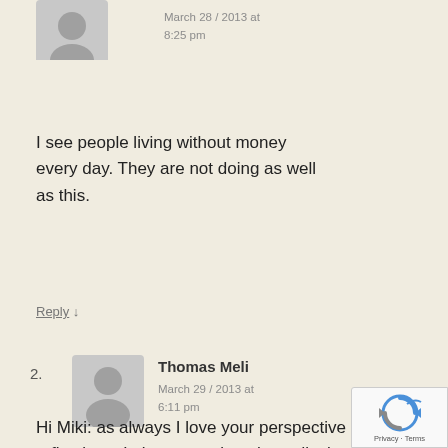[Figure (illustration): Gray silhouette avatar icon for first commenter, partially cropped at top]
March 28 / 2013 at
8:25 pm
I see people living without money every day. They are not doing as well as this.
Reply ↓
2.
[Figure (illustration): Gray silhouette avatar icon for Thomas Meli]
Thomas Meli
March 29 / 2013 at
6:11 pm
Hi Miki: as always I love your perspective and reflections. I also appreciate the radicalness of the vision you
[Figure (logo): Google reCAPTCHA badge with Privacy and Terms links]